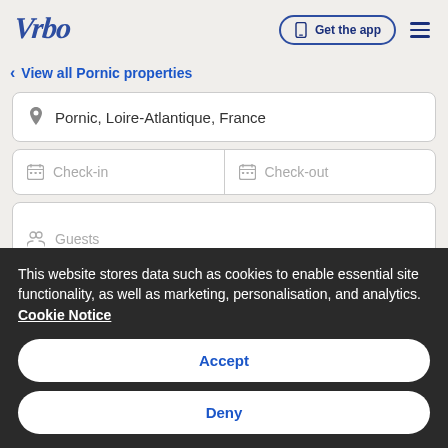[Figure (logo): Vrbo logo in dark blue italic serif font]
Get the app
< View all Pornic properties
Pornic, Loire-Atlantique, France
Check-in
Check-out
Guests
This website stores data such as cookies to enable essential site functionality, as well as marketing, personalisation, and analytics. Cookie Notice
Accept
Deny